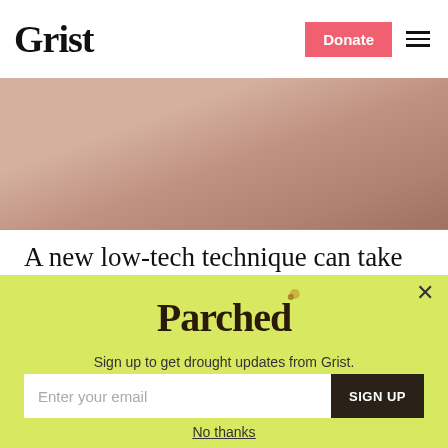Grist | Donate | Menu
[Figure (photo): Close-up photograph of a person looking downward, warm skin tones, blurred background]
A new low-tech technique can take the ‘forever’ out of forever chemicals
John McCracken
[Figure (infographic): Parched newsletter signup popup overlay on lime-green background. Contains Parched logo, subtitle 'Sign up to get drought updates from Grist.', email input field with placeholder 'Enter your email', SIGN UP button, and 'No thanks' link.]